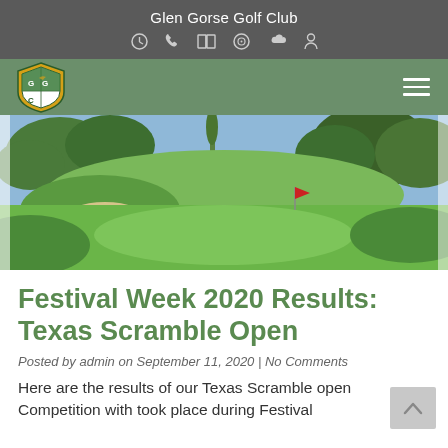Glen Gorse Golf Club
[Figure (logo): Glen Gorse Golf Club shield logo with yellow and green colors, showing GGC initials]
[Figure (photo): Golf course landscape photo showing a green fairway with sand bunker, red flag in the distance, and trees surrounding the course under a blue sky]
Festival Week 2020 Results: Texas Scramble Open
Posted by admin on September 11, 2020 | No Comments
Here are the results of our Texas Scramble open Competition with took place during Festival